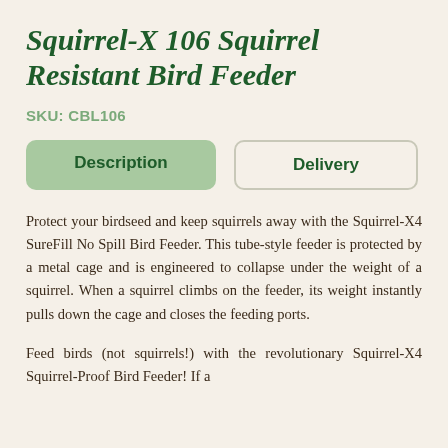Squirrel-X 106 Squirrel Resistant Bird Feeder
SKU: CBL106
Description | Delivery
Protect your birdseed and keep squirrels away with the Squirrel-X4 SureFill No Spill Bird Feeder. This tube-style feeder is protected by a metal cage and is engineered to collapse under the weight of a squirrel. When a squirrel climbs on the feeder, its weight instantly pulls down the cage and closes the feeding ports.
Feed birds (not squirrels!) with the revolutionary Squirrel-X4 Squirrel-Proof Bird Feeder! If a